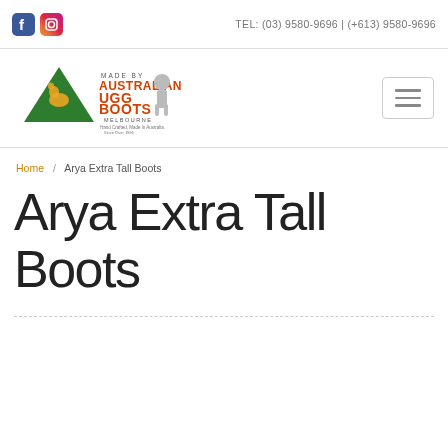TEL: (03) 9580-9696 | (+613) 9580-9696
[Figure (logo): Made by Australian UGG Boots Melbourne logo with green triangle and kangaroo]
Home / Arya Extra Tall Boots
Arya Extra Tall Boots